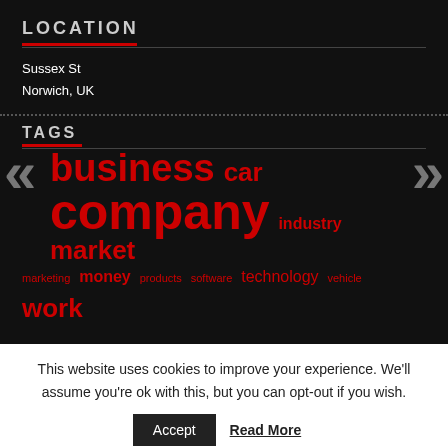LOCATION
Sussex St
Norwich, UK
TAGS
business car company industry market marketing money products software technology vehicle work
This website uses cookies to improve your experience. We'll assume you're ok with this, but you can opt-out if you wish.
Accept  Read More